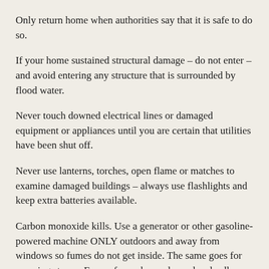Only return home when authorities say that it is safe to do so.
If your home sustained structural damage – do not enter – and avoid entering any structure that is surrounded by flood water.
Never touch downed electrical lines or damaged equipment or appliances until you are certain that utilities have been shut off.
Never use lanterns, torches, open flame or matches to examine damaged buildings – always use flashlights and keep extra batteries available.
Carbon monoxide kills. Use a generator or other gasoline-powered machine ONLY outdoors and away from windows so fumes do not get inside. The same goes for camping stoves. Fumes from charcoal are also deadly; cook with charcoal ONLY outdoors.
Avoid wading in floodwater, which may be contaminated with oil, gasoline, or raw sewage.
Watch for dangerous debris (e.g., broken glass, metal fragments),